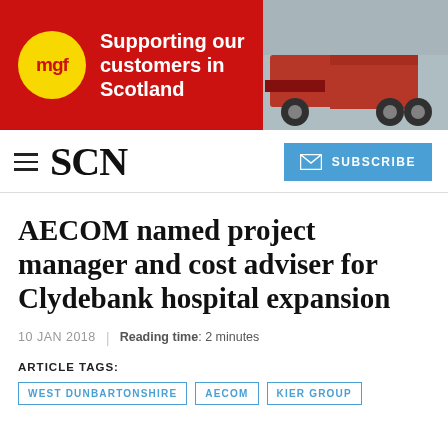[Figure (illustration): MGF advertisement banner: red background, yellow MGF circle logo on left, white bold text 'Supporting our customers in Scotland', truck photo on right]
SCN
AECOM named project manager and cost adviser for Clydebank hospital expansion
10 JAN 2018 | Reading time: 2 minutes
ARTICLE TAGS:
WEST DUNBARTONSHIRE
AECOM
KIER GROUP